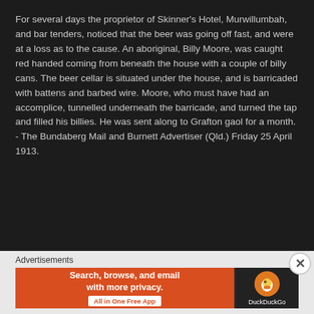For several days the proprietor of Skinner's Hotel, Murwillumbah, and bar tenders, noticed that the beer was going off fast, and were at a loss as to the cause. An aboriginal, Billy Moore, was caught red handed coming from beneath the house with a couple of billy cans. The beer cellar is situated under the house, and is barricaded with battens and barbed wire. Moore, who must have had an accomplice, tunnelled underneath the barricade, and turned the tap and filled his billies. He was sent along to Grafton gaol for a month.
- The Bundaberg Mail and Burnett Advertiser (Qld.) Friday 25 April 1913.
Advertisements
[Figure (infographic): DuckDuckGo advertisement banner: orange left panel with text 'Search, browse, and email with more privacy. All in One Free App' and dark right panel with DuckDuckGo duck logo and brand name.]